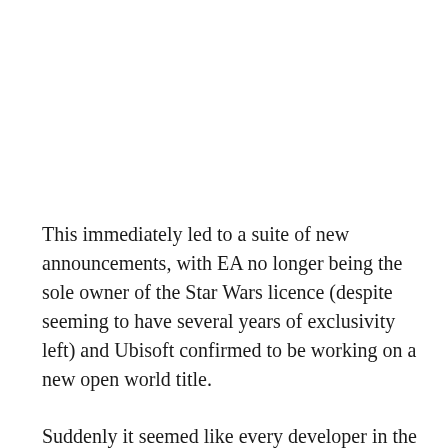This immediately led to a suite of new announcements, with EA no longer being the sole owner of the Star Wars licence (despite seeming to have several years of exclusivity left) and Ubisoft confirmed to be working on a new open world title.
Suddenly it seemed like every developer in the business was getting a Star Wars game, although since that includes Zynga and Heavy Rain developer Quantic Dream there were immediate questions about how carefully